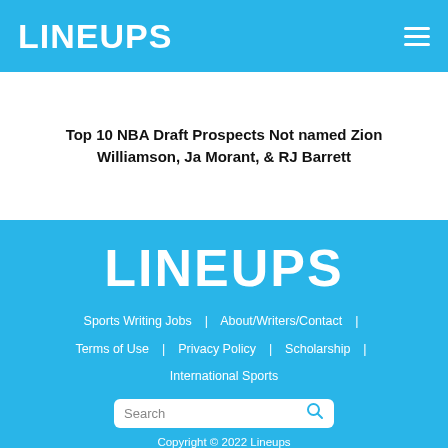LINEUPS
Top 10 NBA Draft Prospects Not named Zion Williamson, Ja Morant, & RJ Barrett
LINEUPS
Sports Writing Jobs | About/Writers/Contact | Terms of Use | Privacy Policy | Scholarship | International Sports
Search
Copyright © 2022 Lineups